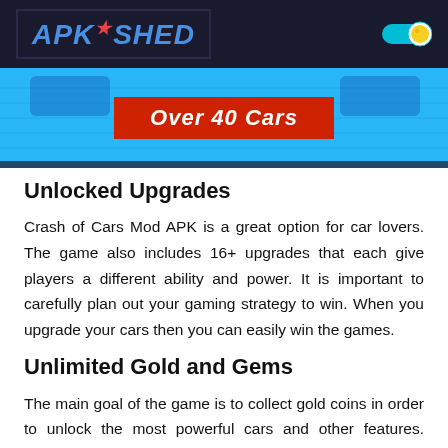APK SHED
[Figure (illustration): Banner image with 'Over 40 Cars' text on a red box over a cyan/blue background with car silhouettes]
Unlocked Upgrades
Crash of Cars Mod APK is a great option for car lovers. The game also includes 16+ upgrades that each give players a different ability and power. It is important to carefully plan out your gaming strategy to win. When you upgrade your cars then you can easily win the games.
Unlimited Gold and Gems
The main goal of the game is to collect gold coins in order to unlock the most powerful cars and other features. There are plenty of locations to gather these crowns. It also comes with unlimited gems and money. The game features more than 70